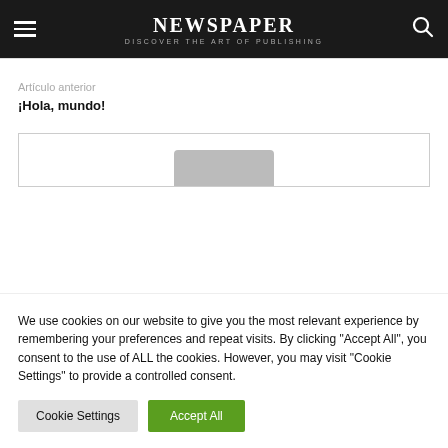NEWSPAPER — DISCOVER THE ART OF PUBLISHING
Artículo anterior
¡Hola, mundo!
[Figure (other): Partial image box with gray placeholder shape visible at bottom]
We use cookies on our website to give you the most relevant experience by remembering your preferences and repeat visits. By clicking "Accept All", you consent to the use of ALL the cookies. However, you may visit "Cookie Settings" to provide a controlled consent.